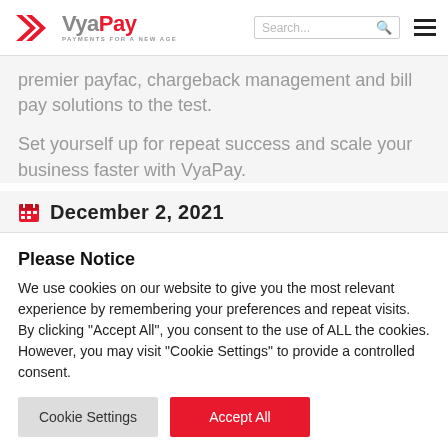[Figure (logo): VyaPay logo with red chevron/arrow icon and tagline PAYMENTS FOR A NEW AGE]
premier payfac, chargeback management and bill pay solutions to the test.
Set yourself up for repeat success and scale your business faster with VyaPay.
December 2, 2021
Please Notice
We use cookies on our website to give you the most relevant experience by remembering your preferences and repeat visits. By clicking “Accept All”, you consent to the use of ALL the cookies. However, you may visit “Cookie Settings” to provide a controlled consent.
Cookie Settings   Accept All